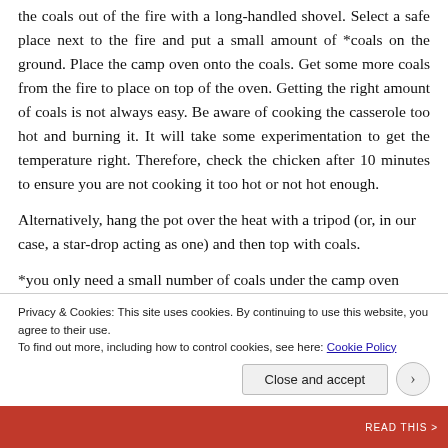the coals out of the fire with a long-handled shovel. Select a safe place next to the fire and put a small amount of *coals on the ground. Place the camp oven onto the coals. Get some more coals from the fire to place on top of the oven. Getting the right amount of coals is not always easy. Be aware of cooking the casserole too hot and burning it. It will take some experimentation to get the temperature right. Therefore, check the chicken after 10 minutes to ensure you are not cooking it too hot or not hot enough.
Alternatively, hang the pot over the heat with a tripod (or, in our case, a star-drop acting as one) and then top with coals.
*you only need a small number of coals under the camp oven
Privacy & Cookies: This site uses cookies. By continuing to use this website, you agree to their use. To find out more, including how to control cookies, see here: Cookie Policy